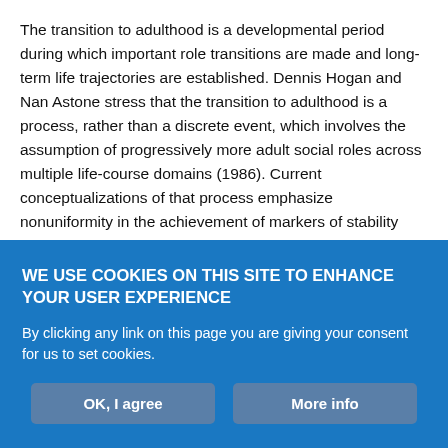The transition to adulthood is a developmental period during which important role transitions are made and long-term life trajectories are established. Dennis Hogan and Nan Astone stress that the transition to adulthood is a process, rather than a discrete event, which involves the assumption of progressively more adult social roles across multiple life-course domains (1986). Current conceptualizations of that process emphasize nonuniformity in the achievement of markers of stability and independence in the domains of education, employment, and housing (Waters et al. 2011; Schoon 2015). For example, as the transition to adulthood period has lengthened, events such as high school completion, college
WE USE COOKIES ON THIS SITE TO ENHANCE YOUR USER EXPERIENCE
By clicking any link on this page you are giving your consent for us to set cookies.